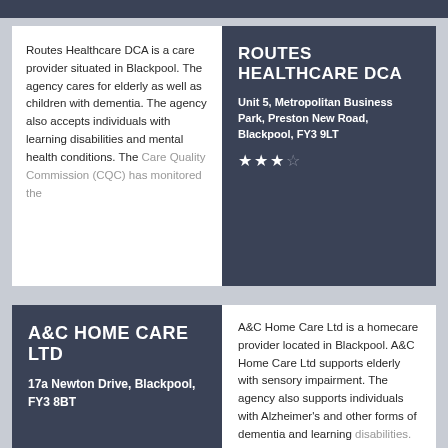ROUTES HEALTHCARE DCA
Unit 5, Metropolitan Business Park, Preston New Road, Blackpool, FY3 9LT
Routes Healthcare DCA is a care provider situated in Blackpool. The agency cares for elderly as well as children with dementia. The agency also accepts individuals with learning disabilities and mental health conditions. The Care Quality Commission (CQC) has monitored the
A&C HOME CARE LTD
17a Newton Drive, Blackpool, FY3 8BT
A&C Home Care Ltd is a homecare provider located in Blackpool. A&C Home Care Ltd supports elderly with sensory impairment. The agency also supports individuals with Alzheimer's and other forms of dementia and learning disabilities. A&C Home Care Ltd has been operating since